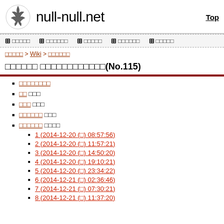null-null.net  Top
+ □□□□□  + □□□□□□  + □□□□□  + □□□□□□  + □□□□□
□□□□□ > Wiki > □□□□□□
□□□□□□ □□□□□□□□□□□□(No.115)
□□□□□□□□
□□ □□□
□□□ □□□
□□□□□□ □□□
□□□□□□ □□□□
1 (2014-12-20 (□) 08:57:56)
2 (2014-12-20 (□) 11:57:21)
3 (2014-12-20 (□) 14:50:20)
4 (2014-12-20 (□) 19:10:21)
5 (2014-12-20 (□) 23:34:22)
6 (2014-12-21 (□) 02:36:46)
7 (2014-12-21 (□) 07:30:21)
8 (2014-12-21 (□) 11:37:20)